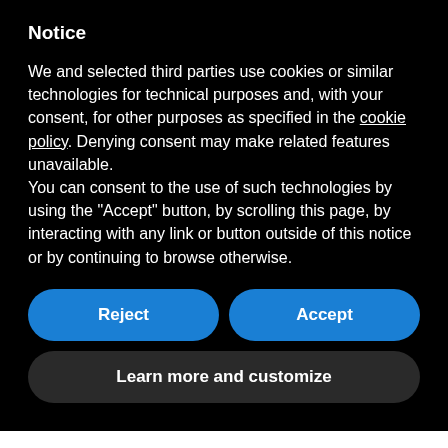Notice
We and selected third parties use cookies or similar technologies for technical purposes and, with your consent, for other purposes as specified in the cookie policy. Denying consent may make related features unavailable.
You can consent to the use of such technologies by using the "Accept" button, by scrolling this page, by interacting with any link or button outside of this notice or by continuing to browse otherwise.
Reject
Accept
Learn more and customize
The African American community is pioneering work in this area, creating build... WiO... ll...
Translate »